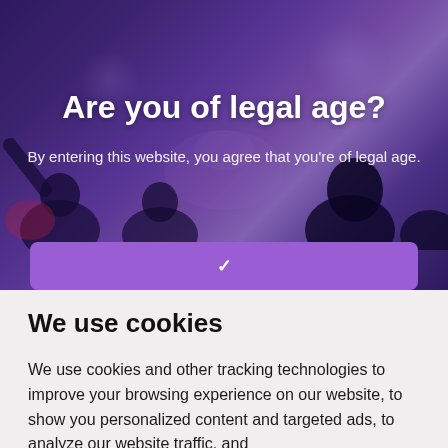[Figure (photo): Background image of a concert crowd with purple/blue lighting and silhouettes of people raising hands]
Are you of legal age?
By entering this website, you agree that you're of legal age.
We use cookies
We use cookies and other tracking technologies to improve your browsing experience on our website, to show you personalized content and targeted ads, to analyze our website traffic, and